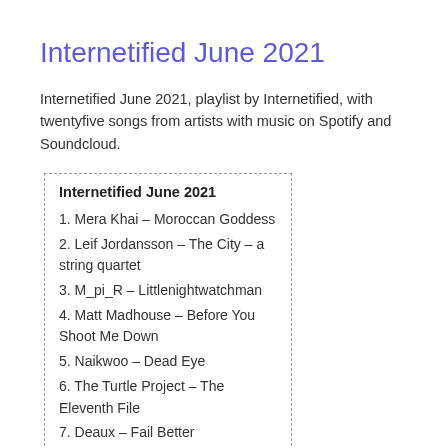Internetified June 2021
Internetified June 2021, playlist by Internetified, with twentyfive songs from artists with music on Spotify and Soundcloud.
Internetified June 2021
1. Mera Khai – Moroccan Goddess
2. Leif Jordansson – The City – a string quartet
3. M_pi_R – Littlenightwatchman
4. Matt Madhouse – Before You Shoot Me Down
5. Naikwoo – Dead Eye
6. The Turtle Project – The Eleventh File
7. Deaux – Fail Better